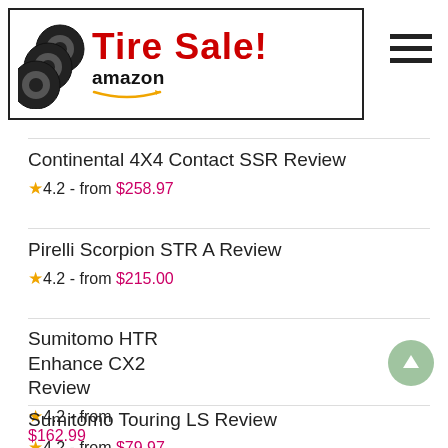[Figure (other): Tire Sale! Amazon banner with tire icon and Amazon logo with arrow]
Continental 4X4 Contact SSR Review
★4.2 - from $258.97
Pirelli Scorpion STR A Review
★4.2 - from $215.00
Sumitomo HTR Enhance CX2 Review
★4.2 - from $162.99
Sumitomo Touring LS Review
★4.2 - from $79.97
Kumho Road Venture APT KL51 Review